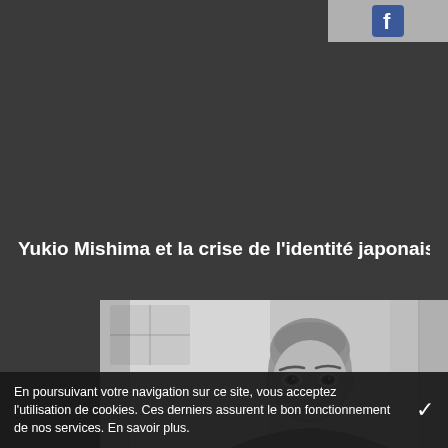[Figure (logo): Facebook button icon in top-right corner, on grey background]
Yukio Mishima et la crise de l'identité japonaise au sor
[Figure (photo): Black and white photograph of a man (Yukio Mishima) with a shaved head, looking directly at the camera with a serious expression, background is blurred]
En poursuivant votre navigation sur ce site, vous acceptez l'utilisation de cookies. Ces derniers assurent le bon fonctionnement de nos services. En savoir plus.